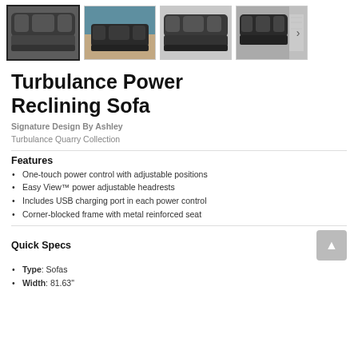[Figure (photo): Four product thumbnail images of a dark gray power reclining sofa in various views: front close-up (selected/highlighted), room setting, side reclined, and console view with a next arrow button]
Turbulance Power Reclining Sofa
Signature Design By Ashley
Turbulance Quarry Collection
Features
One-touch power control with adjustable positions
Easy View™ power adjustable headrests
Includes USB charging port in each power control
Corner-blocked frame with metal reinforced seat
Quick Specs
Type: Sofas
Width: 81.63"